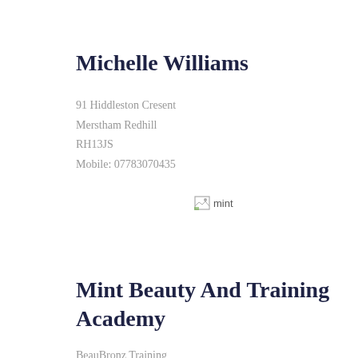Michelle Williams
91 Hiddleston Cresent
Merstham Redhill
RH13JS
Mobile: 07783070435
[Figure (photo): Broken image placeholder labeled 'mint']
Mint Beauty And Training Academy
BeauBronz Training
Beare Green Court